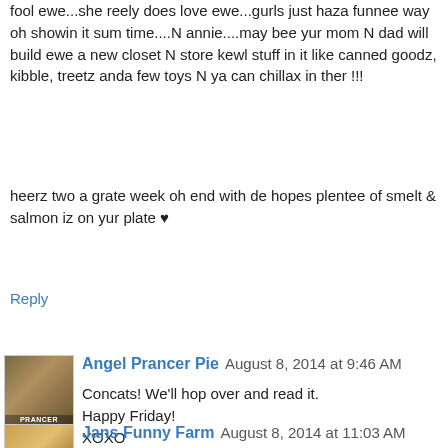fool ewe...she reely does love ewe...gurls just haza funnee way oh showin it sum time....N annie....may bee yur mom N dad will build ewe a new closet N store kewl stuff in it like canned goodz, kibble, treetz anda few toys N ya can chillax in ther !!!
heerz two a grate week oh end with de hopes plentee of smelt & salmon iz on yur plate ♥
Reply
Angel Prancer Pie  August 8, 2014 at 9:46 AM
Concats! We'll hop over and read it.
Happy Friday!
XOXO
Reply
Jans Funny Farm  August 8, 2014 at 11:03 AM
Thanks for participating in the interview, Annie and Pierrot...